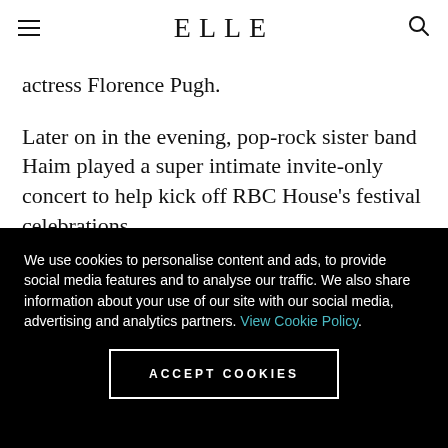ELLE
actress Florence Pugh.
Later on in the evening, pop-rock sister band Haim played a super intimate invite-only concert to help kick off RBC House's festival celebrations.
We use cookies to personalise content and ads, to provide social media features and to analyse our traffic. We also share information about your use of our site with our social media, advertising and analytics partners. View Cookie Policy.
ACCEPT COOKIES